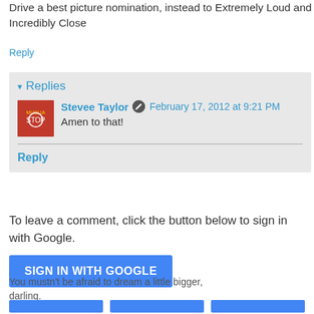Drive a best picture nomination, instead to Extremely Loud and Incredibly Close
Reply
▼ Replies
Stevee Taylor • February 17, 2012 at 9:21 PM
Amen to that!
Reply
To leave a comment, click the button below to sign in with Google.
SIGN IN WITH GOOGLE
You mustn't be afraid to dream a little bigger, darling.